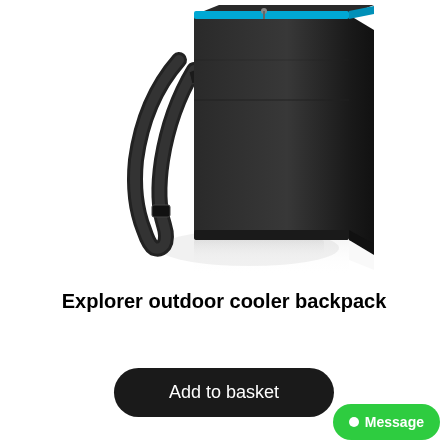[Figure (photo): Product photo of Explorer outdoor cooler backpack — a black rectangular cooler backpack with blue zipper trim at the top, shown from a three-quarter angle with a shoulder strap visible on the left side, reflected on a white surface.]
Explorer outdoor cooler backpack
Add to basket
Message